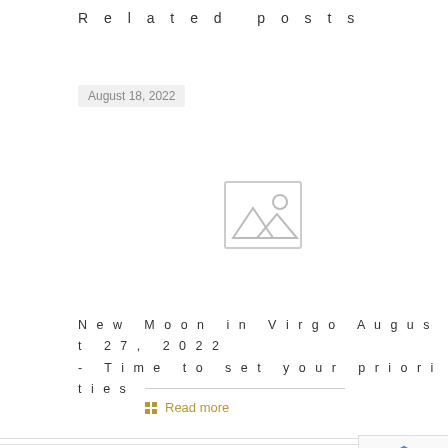Related posts
August 18, 2022
[Figure (photo): Placeholder image icon showing mountains and sun silhouette]
New Moon in Virgo August 27, 2022 - Time to set your priorities
Read more
Leave a Reply
Your email address will not be published. Required fields are